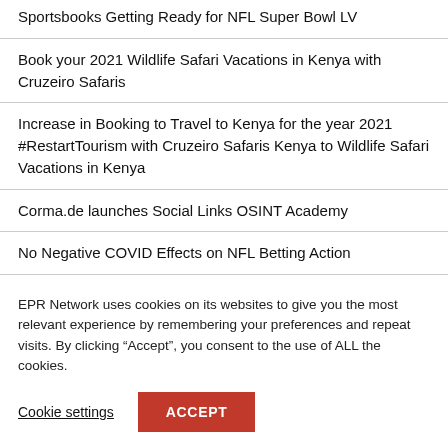Sportsbooks Getting Ready for NFL Super Bowl LV
Book your 2021 Wildlife Safari Vacations in Kenya with Cruzeiro Safaris
Increase in Booking to Travel to Kenya for the year 2021 #RestartTourism with Cruzeiro Safaris Kenya to Wildlife Safari Vacations in Kenya
Corma.de launches Social Links OSINT Academy
No Negative COVID Effects on NFL Betting Action
Stuck for That Perfect Adult Stocking Stuffer? Need a
EPR Network uses cookies on its websites to give you the most relevant experience by remembering your preferences and repeat visits. By clicking “Accept”, you consent to the use of ALL the cookies.
Cookie settings
ACCEPT